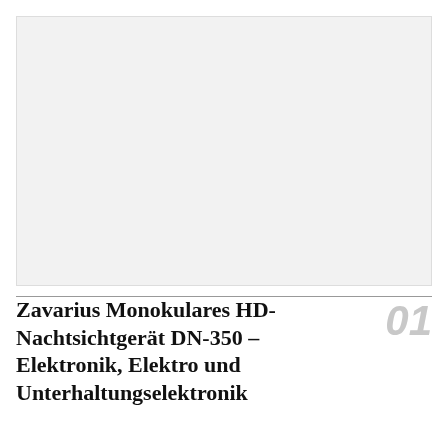[Figure (photo): Large light grey rectangular image placeholder area]
Zavarius Monokulares HD-Nachtsichtgerät DN-350 – Elektronik, Elektro und Unterhaltungselektronik